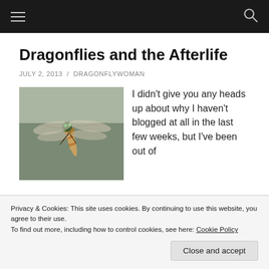Navigation bar with hamburger menu and search icon
Dragonflies and the Afterlife
JULY 2, 2013 / DRAGONFLYWOMAN
[Figure (photo): Close-up photograph of a dragonfly in flight, showing green eyes and brown-orange wings against a blurred grey-green background]
I didn't give you any heads up about why I haven't blogged at all in the last few weeks, but I've been out of
Privacy & Cookies: This site uses cookies. By continuing to use this website, you agree to their use.
To find out more, including how to control cookies, see here: Cookie Policy
Close and accept